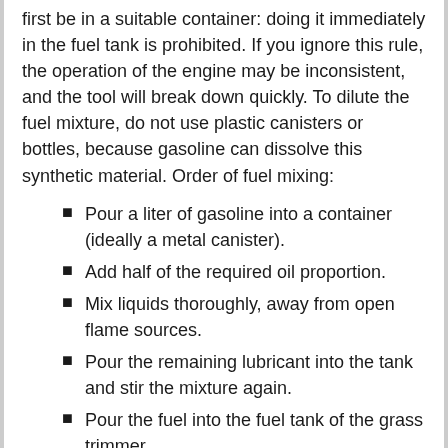first be in a suitable container: doing it immediately in the fuel tank is prohibited. If you ignore this rule, the operation of the engine may be inconsistent, and the tool will break down quickly. To dilute the fuel mixture, do not use plastic canisters or bottles, because gasoline can dissolve this synthetic material. Order of fuel mixing:
Pour a liter of gasoline into a container (ideally a metal canister).
Add half of the required oil proportion.
Mix liquids thoroughly, away from open flame sources.
Pour the remaining lubricant into the tank and stir the mixture again.
Pour the fuel into the fuel tank of the grass trimmer.
The work should be carried out, wearing a respirator